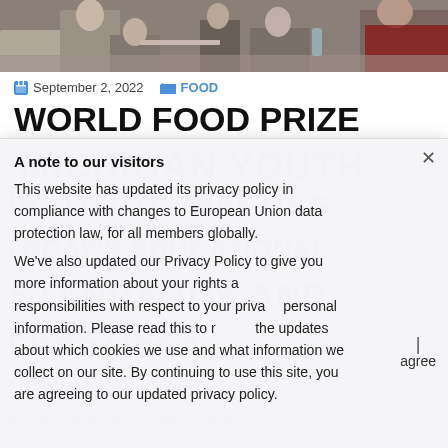[Figure (photo): Top strip: photo of people in a classroom or workshop setting]
September 2, 2022   FOOD
WORLD FOOD PRIZE
MICHIGAN YOUTH INSTITUTE. MEETING TODAY'S EDUCATIONAL STANDARDS AND PRACTICES
A note to our visitors
This website has updated its privacy policy in compliance with changes to European Union data protection law, for all members globally. We've also updated our Privacy Policy to give you more information about your rights a responsibilities with respect to your privacy personal information. Please read this to review the updates about which cookies we use and what information we collect on our site. By continuing to use this site, you are agreeing to our updated privacy policy.
A variety of educational standards and practices are met by participating in the World Food Prize Michigan Youth Institute (WFPMIYI). Working